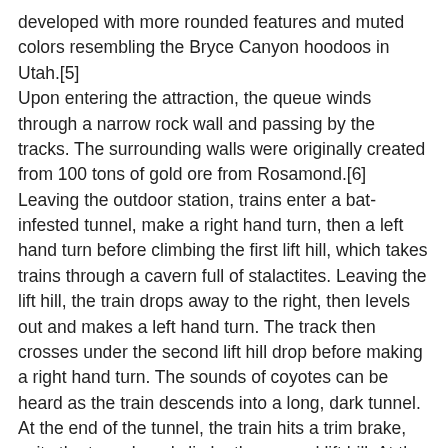developed with more rounded features and muted colors resembling the Bryce Canyon hoodoos in Utah.[5] Upon entering the attraction, the queue winds through a narrow rock wall and passing by the tracks. The surrounding walls were originally created from 100 tons of gold ore from Rosamond.[6] Leaving the outdoor station, trains enter a bat-infested tunnel, make a right hand turn, then a left hand turn before climbing the first lift hill, which takes trains through a cavern full of stalactites. Leaving the lift hill, the train drops away to the right, then levels out and makes a left hand turn. The track then crosses under the second lift hill drop before making a right hand turn. The sounds of coyotes can be heard as the train descends into a long, dark tunnel. At the end of the tunnel, the train hits a trim brake, exits the tunnel, and climbs the second lift hill. At the top of the lift, an animatronic goat bleats at passing guests as the train drops away to the right, crosses under the lift hill, and rises up into a downward